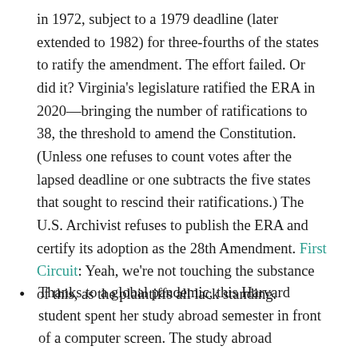in 1972, subject to a 1979 deadline (later extended to 1982) for three-fourths of the states to ratify the amendment. The effort failed. Or did it? Virginia's legislature ratified the ERA in 2020—bringing the number of ratifications to 38, the threshold to amend the Constitution. (Unless one refuses to count votes after the lapsed deadline or one subtracts the five states that sought to rescind their ratifications.) The U.S. Archivist refuses to publish the ERA and certify its adoption as the 28th Amendment. First Circuit: Yeah, we're not touching the substance of this, as the plaintiffs all lack standing.
Thanks to a global pandemic, this Harvard student spent her study abroad semester in front of a computer screen. The study abroad